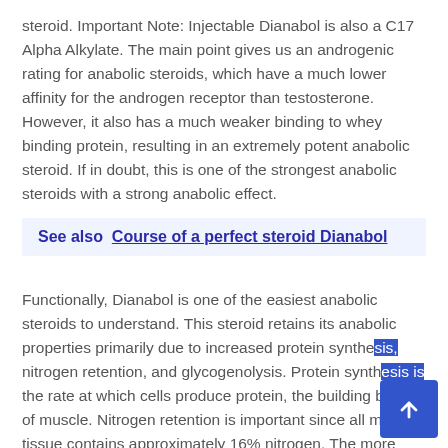steroid. Important Note: Injectable Dianabol is also a C17 Alpha Alkylate. The main point gives us an androgenic rating for anabolic steroids, which have a much lower affinity for the androgen receptor than testosterone. However, it also has a much weaker binding to whey binding protein, resulting in an extremely potent anabolic steroid. If in doubt, this is one of the strongest anabolic steroids with a strong anabolic effect.
See also  Course of a perfect steroid Dianabol
Functionally, Dianabol is one of the easiest anabolic steroids to understand. This steroid retains its anabolic properties primarily due to increased protein synthesis, nitrogen retention, and glycogenolysis. Protein synthesis is the rate at which cells produce protein, the building blocks of muscle. Nitrogen retention is important since all muscle tissue contains approximately 16% nitrogen. The more nitrogen we store, the more anabolic we become. On the